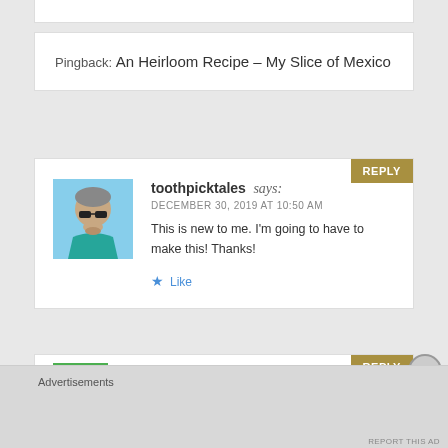Pingback: An Heirloom Recipe – My Slice of Mexico
toothpicktales says:
DECEMBER 30, 2019 AT 10:50 AM
This is new to me. I'm going to have to make this! Thanks!
★ Like
luna says:
Advertisements